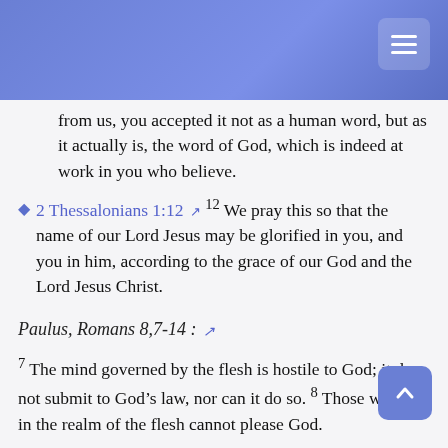Navigation header with gradient background
from us, you accepted it not as a human word, but as it actually is, the word of God, which is indeed at work in you who believe.
2 Thessalonians 1:12 ↗ 12 We pray this so that the name of our Lord Jesus may be glorified in you, and you in him, according to the grace of our God and the Lord Jesus Christ.
Paulus, Romans 8,7-14 : ↗
7 The mind governed by the flesh is hostile to God; it does not submit to God's law, nor can it do so. 8 Those who are in the realm of the flesh cannot please God.
9 You, however, are not in the realm of the flesh but are in the realm of the Spirit, if indeed the Spirit of God lives in you.